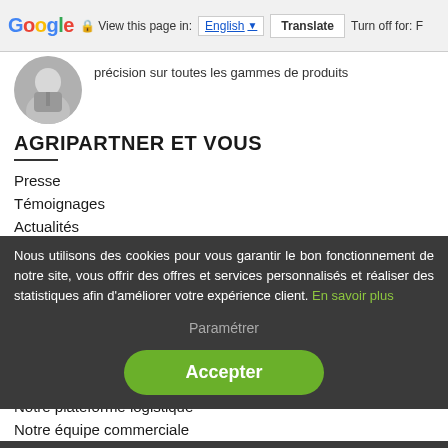Google | View this page in: English | Translate | Turn off for: F
[Figure (photo): Circular portrait photo of a person in a grey zip-up top]
précision sur toutes les gammes de produits
AGRIPARTNER ET VOUS
Presse
Témoignages
Actualités
Nos vidéos
Conseils
Nous rejoindre
QUI SOMMES-NOUS ?
Nous utilisons des cookies pour vous garantir le bon fonctionnement de notre site, vous offrir des offres et services personnalisés et réaliser des statistiques afin d'améliorer votre expérience client. En savoir plus
Paramétrer
Accepter
Qui sommes-nous ?
Nos magasins
Notre plateforme logistique
Notre équipe commerciale